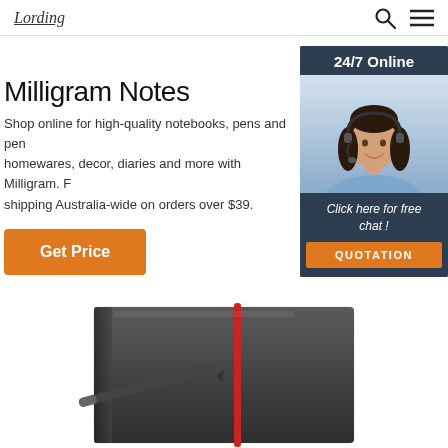Lording (logo) | search icon | menu icon
Milligram Notes
Shop online for high-quality notebooks, pens and pen homewares, decor, diaries and more with Milligram. F shipping Australia-wide on orders over $39.
Get Price
[Figure (photo): Chat widget showing '24/7 Online' header, a woman wearing a headset smiling, 'Click here for free chat!' text, and a QUOTATION orange button, on a dark navy background]
[Figure (photo): Dark gray notebook with red elastic band closure and a pen, partially visible at the bottom of the page]